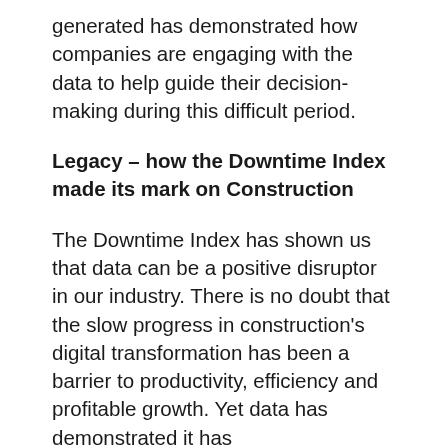generated has demonstrated how companies are engaging with the data to help guide their decision-making during this difficult period.
Legacy – how the Downtime Index made its mark on Construction
The Downtime Index has shown us that data can be a positive disruptor in our industry. There is no doubt that the slow progress in construction's digital transformation has been a barrier to productivity, efficiency and profitable growth. Yet data has demonstrated it has